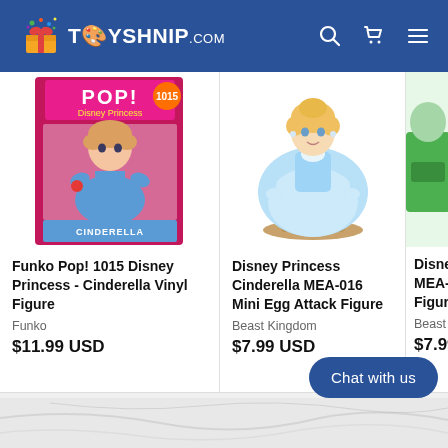TOYSHNIP.COM
[Figure (photo): Funko Pop! 1015 Disney Princess Cinderella Vinyl Figure product image in box]
Funko Pop! 1015 Disney Princess - Cinderella Vinyl Figure
Funko
$11.99 USD
[Figure (photo): Disney Princess Cinderella MEA-016 Mini Egg Attack Figure - Cinderella figurine in blue gown on brown base]
Disney Princess Cinderella MEA-016 Mini Egg Attack Figure
Beast Kingdom
$7.99 USD
[Figure (photo): Partial view of third product - Disney MEA-01 Figure by Beast Kingdom, partially cut off]
Disney MEA-01 Figure
Beast Kin
$7.99 U
Chat with us